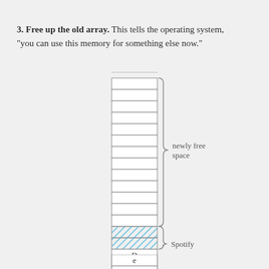3. Free up the old array. This tells the operating system, "you can use this memory for something else now."
[Figure (engineering-diagram): Memory diagram showing a tall vertical array of cells. The top portion (about 13 cells) is empty/white with a curly brace labeled 'newly free space'. Below that are two blue hatched cells labeled 'Spotify' with a curly brace. Then four white cells containing letters D, e, a, r, followed by more empty cells at the bottom. A partial array is shown at the very top of the page.]